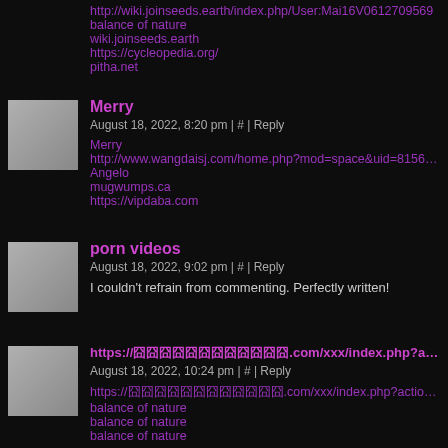http://wiki.joinseeds.earth/index.php/User:Mai16V0612709569
balance of nature
wiki.joinseeds.earth
https://cycleopedia.org/
pitha.net
Merry
August 18, 2022, 8:20 pm | # | Reply
Merry
http://www.wangdaisj.com/home.php?mod=space&uid=815693&do...
Angelo
mugwumps.ca
https://vipdaba.com
porn videos
August 18, 2022, 9:02 pm | # | Reply
I couldn't refrain from commenting. Perfectly written!
https://囧囧囧囧囧囧囧囧囧囧囧囧.com/xxx/index.php?action=pr...
August 18, 2022, 10:24 pm | # | Reply
https://囧囧囧囧囧囧囧囧囧囧囧囧.com/xxx/index.php?action=profile;u=684795
balance of nature
balance of nature
balance of nature
balance of nature